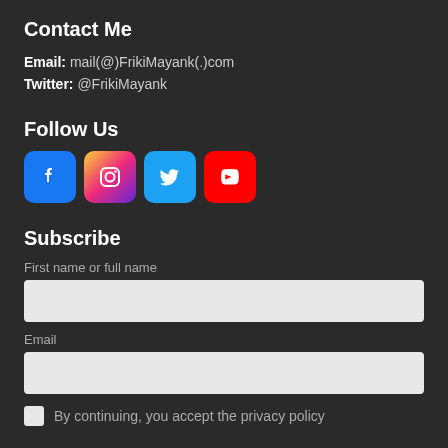Contact Me
Email: mail(@)FrikiMayank(.)com
Twitter: @FrikiMayank
Follow Us
[Figure (infographic): Four social media icons: Facebook (blue), Instagram (gradient), Twitter (light blue), YouTube (red)]
Subscribe
First name or full name
Email
By continuing, you accept the privacy policy